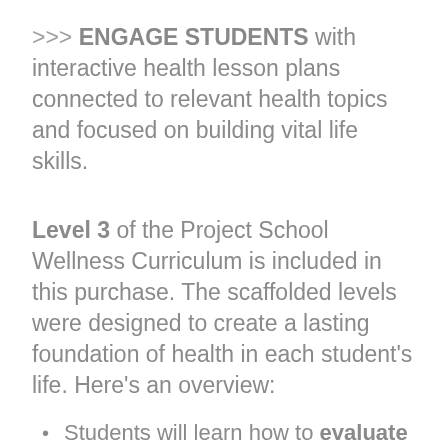>>> ENGAGE STUDENTS with interactive health lesson plans connected to relevant health topics and focused on building vital life skills.
Level 3 of the Project School Wellness Curriculum is included in this purchase. The scaffolded levels were designed to create a lasting foundation of health in each student's life. Here's an overview:
Students will learn how to evaluate and assess individual well-being.
Students will learn how to build life skills...